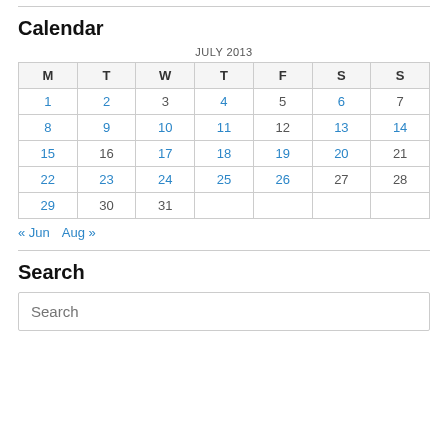Calendar
| M | T | W | T | F | S | S |
| --- | --- | --- | --- | --- | --- | --- |
| 1 | 2 | 3 | 4 | 5 | 6 | 7 |
| 8 | 9 | 10 | 11 | 12 | 13 | 14 |
| 15 | 16 | 17 | 18 | 19 | 20 | 21 |
| 22 | 23 | 24 | 25 | 26 | 27 | 28 |
| 29 | 30 | 31 |  |  |  |  |
« Jun  Aug »
Search
Search